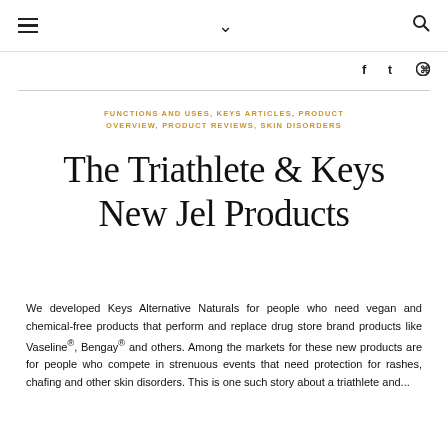≡  ∨  🔍
f  t  ⊕
FUNCTIONS AND USES, KEYS ARTICLES, PRODUCT OVERVIEW, PRODUCT REVIEWS, SKIN DISORDERS
The Triathlete & Keys New Jel Products
We developed Keys Alternative Naturals for people who need vegan and chemical-free products that perform and replace drug store brand products like Vaseline®, Bengay® and others. Among the markets for these new products are for people who compete in strenuous events that need protection for rashes, chafing and other skin disorders. This is one such story about a triathlete and...